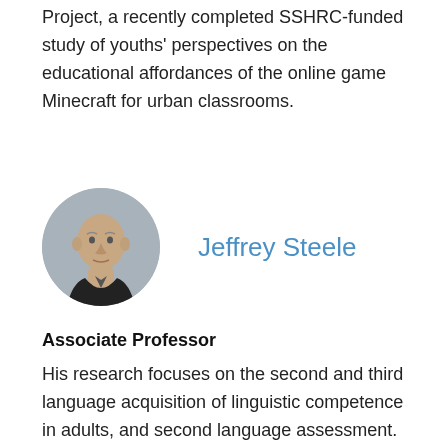Project, a recently completed SSHRC-funded study of youths' perspectives on the educational affordances of the online game Minecraft for urban classrooms.
[Figure (photo): Circular portrait photo of a middle-aged bald man wearing a dark shirt, against a gray background. Beside the photo is the name Jeffrey Steele in blue text.]
Jeffrey Steele
Associate Professor
His research focuses on the second and third language acquisition of linguistic competence in adults, and second language assessment. Current projects include a study of the effects of first and second